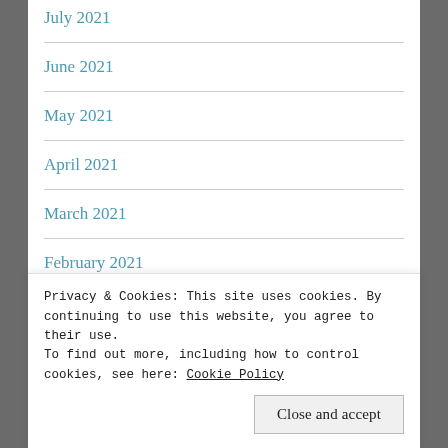July 2021
June 2021
May 2021
April 2021
March 2021
February 2021
January 2021
December 2020
Privacy & Cookies: This site uses cookies. By continuing to use this website, you agree to their use. To find out more, including how to control cookies, see here: Cookie Policy
Close and accept